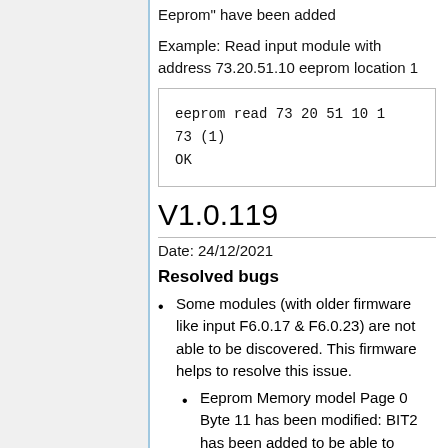Eeprom" have been added
Example: Read input module with address 73.20.51.10 eeprom location 1
eeprom read 73 20 51 10 1
73 (1)
OK
V1.0.119
Date: 24/12/2021
Resolved bugs
Some modules (with older firmware like input F6.0.17 & F6.0.23) are not able to be discovered. This firmware helps to resolve this issue.
Eeprom Memory model Page 0 Byte 11 has been modified: BIT2 has been added to be able to